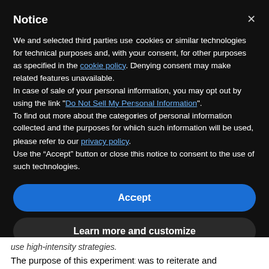Notice
We and selected third parties use cookies or similar technologies for technical purposes and, with your consent, for other purposes as specified in the cookie policy. Denying consent may make related features unavailable.
In case of sale of your personal information, you may opt out by using the link "Do Not Sell My Personal Information".
To find out more about the categories of personal information collected and the purposes for which such information will be used, please refer to our privacy policy.
Use the “Accept” button or close this notice to consent to the use of such technologies.
Accept
Learn more and customize
use high-intensity strategies.
The purpose of this experiment was to reiterate and